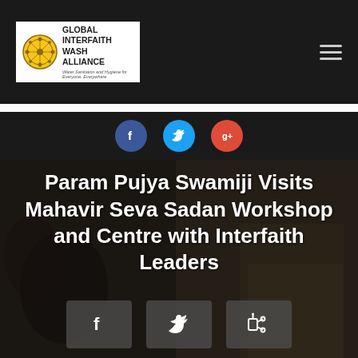[Figure (logo): Global Interfaith WASH Alliance logo with circular emblem and text]
[Figure (infographic): Social media share buttons row: Facebook (blue circle), Twitter (light blue circle), Google+ (red circle)]
Param Pujya Swamiji Visits Mahavir Seva Sadan Workshop and Centre with Interfaith Leaders
[Figure (infographic): Share buttons: Facebook, Twitter, LinkedIn on dark semi-transparent backgrounds]